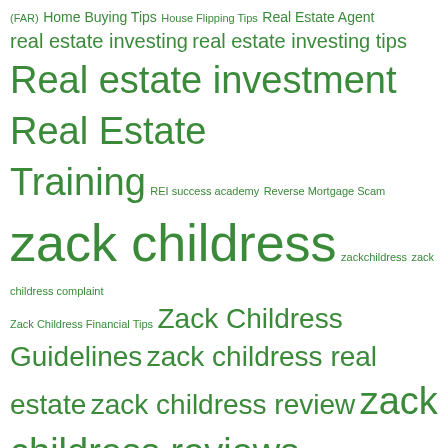(FAR) Home Buying Tips House Flipping Tips Real Estate Agent real estate investing real estate investing tips Real estate investment Real Estate Training REI success academy Reverse Mortgage Scam zack childress zackchildress zack childress complaint Zack Childress Financial Tips Zack Childress Guidelines zack childress real estate zack childress review zack childress reviews zack childress scam Zack Childress Scam Tips Zack Childress Tips
RECENT COMMENTS
peggy sue porn video on Zack Childress Reviews The Pluses and Minuses of Modular Homes